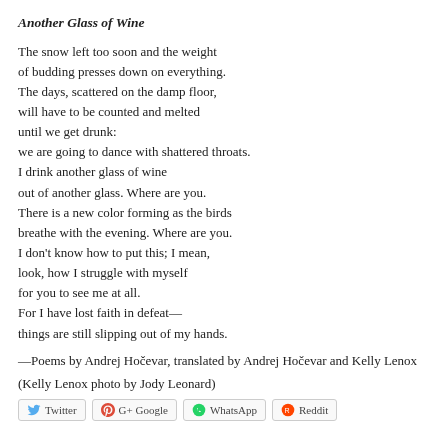Another Glass of Wine
The snow left too soon and the weight
of budding presses down on everything.
The days, scattered on the damp floor,
will have to be counted and melted
until we get drunk:
we are going to dance with shattered throats.
I drink another glass of wine
out of another glass. Where are you.
There is a new color forming as the birds
breathe with the evening. Where are you.
I don't know how to put this; I mean,
look, how I struggle with myself
for you to see me at all.
For I have lost faith in defeat—
things are still slipping out of my hands.
—Poems by Andrej Hočevar, translated by Andrej Hočevar and Kelly Lenox
(Kelly Lenox photo by Jody Leonard)